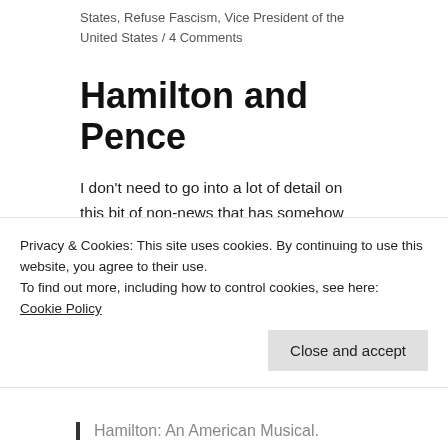States, Refuse Fascism, Vice President of the United States / 4 Comments
Hamilton and Pence
I don't need to go into a lot of detail on this bit of non-news that has somehow captured headlines. Here are the basics as reported by NPR.
[partial blockquote — Vice President-elect Mike P...]
Privacy & Cookies: This site uses cookies. By continuing to use this website, you agree to their use.
To find out more, including how to control cookies, see here: Cookie Policy
Hamilton: An American Musical.